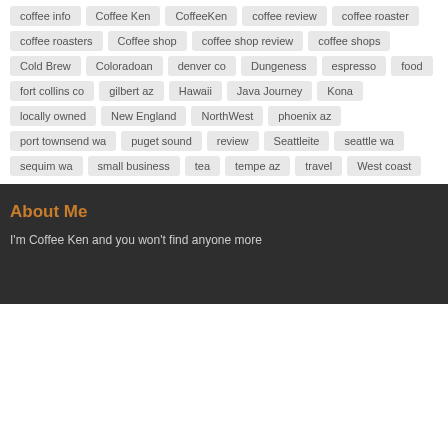coffee info
Coffee Ken
CoffeeKen
coffee review
coffee roaster
coffee roasters
Coffee shop
coffee shop review
coffee shops
Cold Brew
Coloradoan
denver co
Dungeness
espresso
food
fort collins co
gilbert az
Hawaii
Java Journey
Kona
locally owned
New England
NorthWest
phoenix az
port townsend wa
puget sound
review
Seattleite
seattle wa
sequim wa
small business
tea
tempe az
travel
West coast
About Me
I'm Coffee Ken and you won't find anyone more